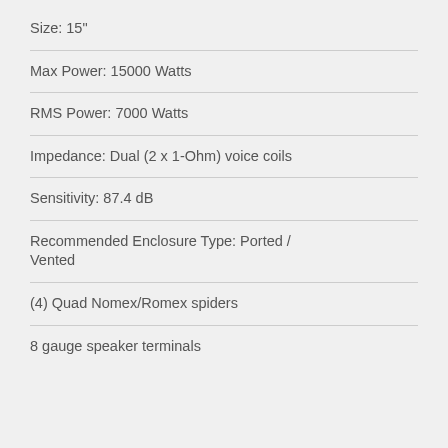Size: 15"
Max Power: 15000 Watts
RMS Power: 7000 Watts
Impedance: Dual (2 x 1-Ohm) voice coils
Sensitivity: 87.4 dB
Recommended Enclosure Type: Ported / Vented
(4) Quad Nomex/Romex spiders
8 gauge speaker terminals